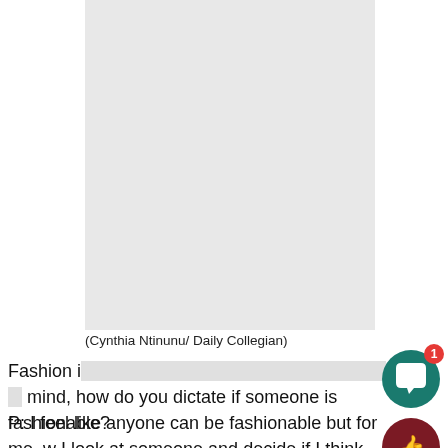[Figure (photo): A large light gray placeholder image area representing a photo credited to Cynthia Ntinunu / Daily Collegian]
(Cynthia Ntinunu/ Daily Collegian)
Fashion is defined differently by everyone. That in mind, how do you dictate if someone is fashionable?
P: I feel like anyone can be fashionable but for me, w I look at someone and decide if I think they are